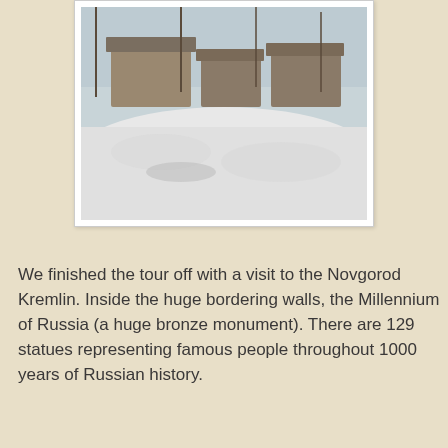[Figure (photo): Photograph of a snow-covered outdoor scene with wooden buildings/structures in the background and a large expanse of snow in the foreground. Winter scene with bare trees visible.]
We finished the tour off with a visit to the Novgorod Kremlin. Inside the huge bordering walls, the Millennium of Russia (a huge bronze monument). There are 129 statues representing famous people throughout 1000 years of Russian history.
[Figure (photo): Photograph of the Novgorod Kremlin walls in winter. The large red-brick fortress wall extends across the image with a tower visible. Snow covers the ground in the foreground. Two people are visible in the distance in the snow.]